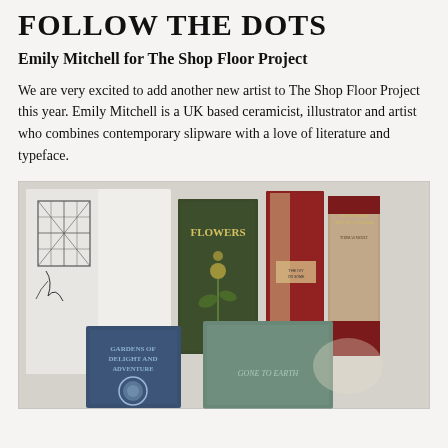FOLLOW THE DOTS
Emily Mitchell for The Shop Floor Project
We are very excited to add another new artist to The Shop Floor Project this year. Emily Mitchell is a UK based ceramicist, illustrator and artist who combines contemporary slipware with a love of literature and typeface.
[Figure (photo): A collection of vintage books laid on a white surface, including titles such as 'Flowers', 'Mary Webb: Her Life and Work by Thomas Moult', and 'Gone to Earth'. Books are arranged with some open and some standing upright.]